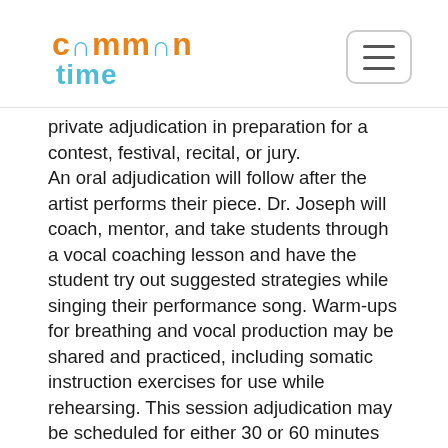common time
private adjudication in preparation for a contest, festival, recital, or jury. An oral adjudication will follow after the artist performs their piece. Dr. Joseph will coach, mentor, and take students through a vocal coaching lesson and have the student try out suggested strategies while singing their performance song. Warm-ups for breathing and vocal production may be shared and practiced, including somatic instruction exercises for use while rehearsing. This session adjudication may be scheduled for either 30 or 60 minutes and video recorded for use with on-going practice with approval of both parties. Note: Students will perform an art song or music representing master literature. Students will be adjudicated on overall preparation, musicianship, tone, intonation, technique, and appropriate literature. Written reports with Dr. Joseph's position will